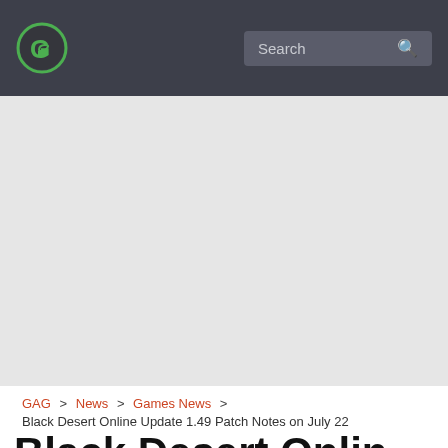GAG [logo] Search
[Figure (other): Large light grey banner/advertisement placeholder area]
GAG > News > Games News > Black Desert Online Update 1.49 Patch Notes on July 22
Black Desert Online Upd